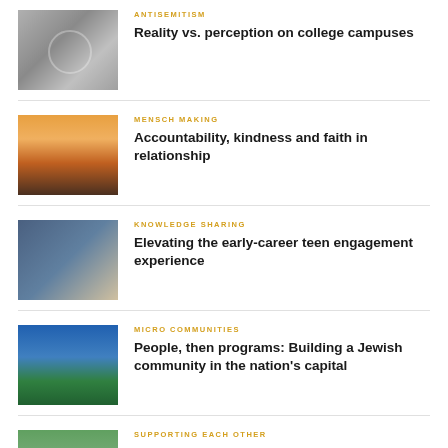ANTISEMITISM | Reality vs. perception on college campuses
MENSCH MAKING | Accountability, kindness and faith in relationship
KNOWLEDGE SHARING | Elevating the early-career teen engagement experience
MICRO COMMUNITIES | People, then programs: Building a Jewish community in the nation’s capital
SUPPORTING EACH OTHER | What are we supposed to do